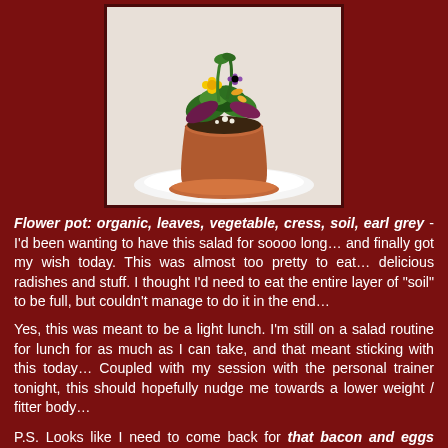[Figure (photo): A terracotta flower pot filled with a decorative salad featuring edible flowers, green leaves, and various colorful garnishes, served on a white plate/saucer.]
Flower pot: organic, leaves, vegetable, cress, soil, earl grey - I'd been wanting to have this salad for soooo long… and finally got my wish today.  This was almost too pretty to eat…  delicious radishes and stuff.  I thought I'd need to eat the entire layer of "soil" to be full, but couldn't manage to do it in the end…
Yes, this was meant to be a light lunch.  I'm still on a salad routine for lunch for as much as I can take, and that meant sticking with this today… Coupled with my session with the personal trainer tonight, this should hopefully nudge me towards a lower weight / fitter body…
P.S.  Looks like I need to come back for that bacon and eggs thing my dining companion was having...